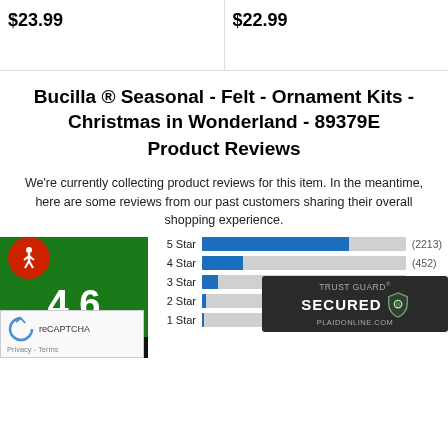$23.99
$22.99
Bucilla ® Seasonal - Felt - Ornament Kits - Christmas in Wonderland - 89379E
Product Reviews
We're currently collecting product reviews for this item. In the meantime, here are some reviews from our past customers sharing their overall shopping experience.
[Figure (bar-chart): Star Ratings]